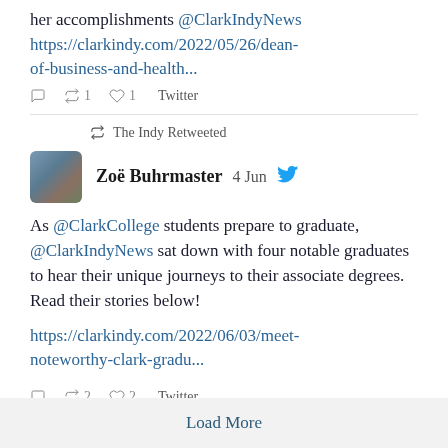her accomplishments @ClarkIndyNews https://clarkindy.com/2022/05/26/dean-of-business-and-health...
1  1  Twitter
The Indy Retweeted
Zoë Buhrmaster  4 Jun
As @ClarkCollege students prepare to graduate, @ClarkIndyNews sat down with four notable graduates to hear their unique journeys to their associate degrees. Read their stories below!

https://clarkindy.com/2022/06/03/meet-noteworthy-clark-gradu...
2  2  Twitter
Load More